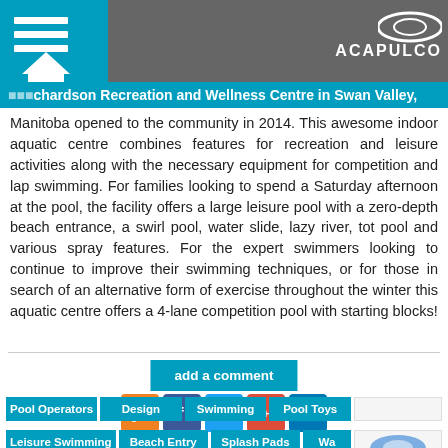[Figure (screenshot): Website header with hamburger menu, home icon, grey background image of a pool, and Acapulco logo on the right]
Richardson Recreation and Wellness Centre in Swan Valley, Manitoba opened to the community in 2014.
Richardson Recreation and Wellness Centre in Swan Valley, Manitoba opened to the community in 2014. This awesome indoor aquatic centre combines features for recreation and leisure activities along with the necessary equipment for competition and lap swimming. For families looking to spend a Saturday afternoon at the pool, the facility offers a large leisure pool with a zero-depth beach entrance, a swirl pool, water slide, lazy river, tot pool and various spray features. For the expert swimmers looking to continue to improve their swimming techniques, or for those in search of an alternative form of exercise throughout the winter this aquatic centre offers a 4-lane competition pool with starting blocks!
add a comment
[Figure (infographic): Row of social media icons: RSS (orange), Facebook (blue), Twitter (blue), Google+ (red/orange), LinkedIn (blue)]
Pool Operators
Design
Swimming
Pool Toys
Leisure Swimming
Beach Entry
Splash Pads
Wa...